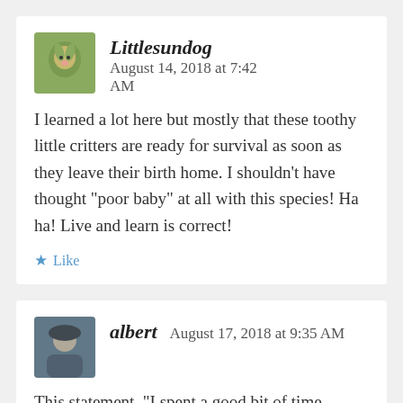Littlesundog   August 14, 2018 at 7:42 AM
I learned a lot here but mostly that these toothy little critters are ready for survival as soon as they leave their birth home. I shouldn’t have thought “poor baby” at all with this species! Ha ha! Live and learn is correct!
★ Like
albert   August 17, 2018 at 9:35 AM
This statement, “I spent a good bit of time